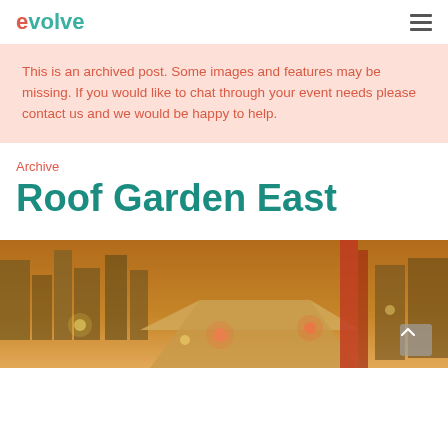evolve
This is an archived post. Some images and features may be missing. If you would like to chat through your event needs please contact us and we would be happy to help.
Archive
Roof Garden East
[Figure (photo): Aerial/rooftop city view with warm orange lighting and blurred bokeh effects, showing urban skyline at dusk]